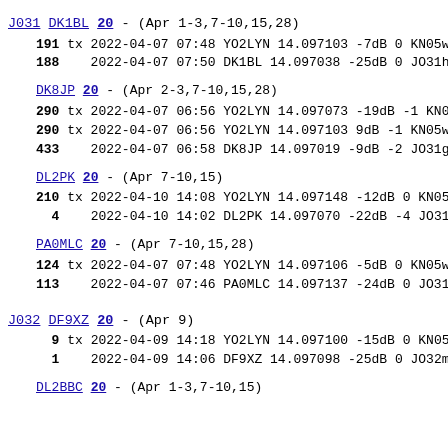J031 DK1BL 20 - (Apr 1-3,7-10,15,28)
191 tx 2022-04-07 07:48 YO2LYN 14.097103 -7dB 0 KN05wh
188    2022-04-07 07:50 DK1BL 14.097038 -25dB 0 JO31hh
DK8JP 20 - (Apr 2-3,7-10,15,28)
290 tx 2022-04-07 06:56 YO2LYN 14.097073 -19dB -1 KN05
290 tx 2022-04-07 06:56 YO2LYN 14.097103 9dB -1 KN05wh
433    2022-04-07 06:58 DK8JP 14.097019 -9dB -2 JO31gh
DL2PK 20 - (Apr 7-10,15)
210 tx 2022-04-10 14:08 YO2LYN 14.097148 -12dB 0 KN05w
4    2022-04-10 14:02 DL2PK 14.097070 -22dB -4 JO31:
PA0MLC 20 - (Apr 7-10,15,28)
124 tx 2022-04-07 07:48 YO2LYN 14.097106 -5dB 0 KN05wh
113    2022-04-07 07:46 PA0MLC 14.097137 -24dB 0 JO31a
J032 DF9XZ 20 - (Apr 9)
9 tx 2022-04-09 14:18 YO2LYN 14.097100 -15dB 0 KN05w
1    2022-04-09 14:06 DF9XZ 14.097098 -25dB 0 JO32mt
DL2BBC 20 - (Apr 1-3,7-10,15)